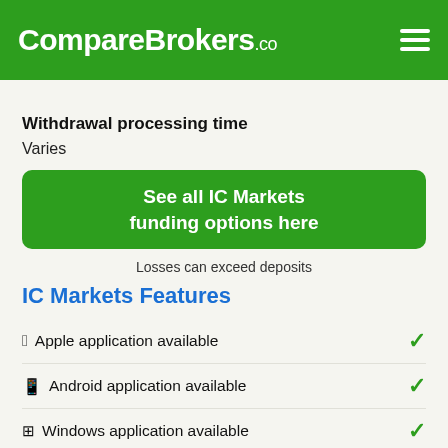CompareBrokers.co
Withdrawal processing time
Varies
See all IC Markets funding options here
Losses can exceed deposits
IC Markets Features
Apple application available
Android application available
Windows application available
Can Set Price alerts
Variable spreads (Forex)